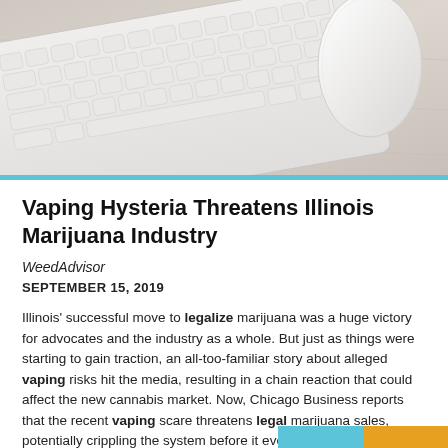[Figure (photo): Photo of a white Apple keyboard and Magic Mouse on a light wooden desk surface, viewed from above at an angle.]
Vaping Hysteria Threatens Illinois Marijuana Industry
WeedAdvisor
SEPTEMBER 15, 2019
Illinois' successful move to legalize marijuana was a huge victory for advocates and the industry as a whole. But just as things were starting to gain traction, an all-too-familiar story about alleged vaping risks hit the media, resulting in a chain reaction that could affect the new cannabis market. Now, Chicago Business reports that the recent vaping scare threatens legal marijuana sales, potentially crippling the system before it even takes off.